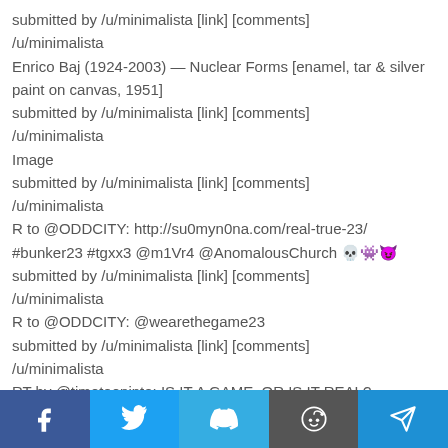submitted by /u/minimalista [link] [comments]
/u/minimalista
Enrico Baj (1924-2003) — Nuclear Forms [enamel, tar & silver paint on canvas, 1951]
submitted by /u/minimalista [link] [comments]
/u/minimalista
Image
submitted by /u/minimalista [link] [comments]
/u/minimalista
R to @ODDCITY: http://su0myn0na.com/real-true-23/ #bunker23 #tgxx3 @m1Vr4 @AnomalousChurch 💀👾😈
submitted by /u/minimalista [link] [comments]
/u/minimalista
R to @ODDCITY: @wearethegame23
submitted by /u/minimalista [link] [comments]
/u/minimalista
RT by @timoteopinto: IS IT A GAME, OR IS IT REAL?
#WhatIsTheGame23? Soon. @timoteopinto @discordianismo2
@Real_TheGAME23 @text18193833001 @FoJAk3 @nickhintonn Protips